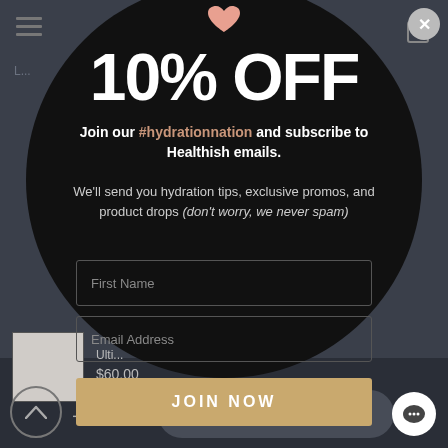[Figure (screenshot): E-commerce website background showing navigation with hamburger menu icon and shopping bag icon, dimmed page content behind modal overlay.]
10% OFF
Join our #hydrationnation and subscribe to Healthish emails.
We'll send you hydration tips, exclusive promos, and product drops (don't worry, we never spam)
First Name
Email Address
JOIN NOW
Ulti... $60.00
Add to cart